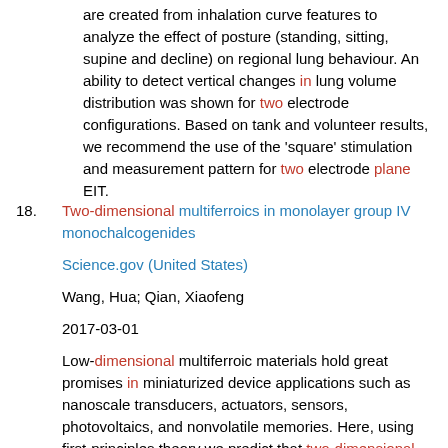are created from inhalation curve features to analyze the effect of posture (standing, sitting, supine and decline) on regional lung behaviour. An ability to detect vertical changes in lung volume distribution was shown for two electrode configurations. Based on tank and volunteer results, we recommend the use of the 'square' stimulation and measurement pattern for two electrode plane EIT.
18. Two-dimensional multiferroics in monolayer group IV monochalcogenides
Science.gov (United States)
Wang, Hua; Qian, Xiaofeng
2017-03-01
Low-dimensional multiferroic materials hold great promises in miniaturized device applications such as nanoscale transducers, actuators, sensors, photovoltaics, and nonvolatile memories. Here, using first-principles theory we predict that two-dimensional (2D) monolayer group IV monochalcogenides including GeS, GeSe, SnS, and SnSe are a class of 2D semiconducting multiferroics with giant strongly-coupled in-